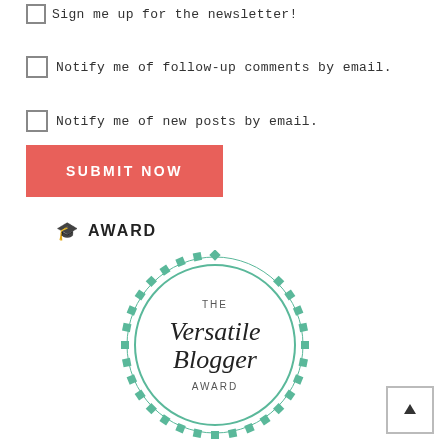Sign me up for the newsletter!
Notify me of follow-up comments by email.
Notify me of new posts by email.
SUBMIT NOW
🎓 AWARD
[Figure (logo): The Versatile Blogger Award badge — circular badge with teal diamond border pattern, text reads: THE Versatile Blogger AWARD]
[Figure (other): Back to top button with upward arrow icon, square with border]